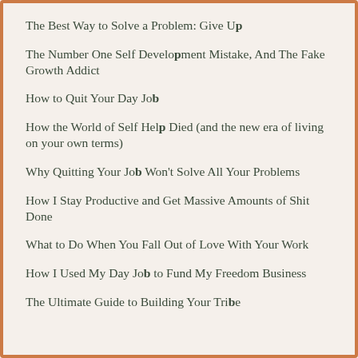The Best Way to Solve a Problem: Give Up
The Number One Self Development Mistake, And The Fake Growth Addict
How to Quit Your Day Job
How the World of Self Help Died (and the new era of living on your own terms)
Why Quitting Your Job Won't Solve All Your Problems
How I Stay Productive and Get Massive Amounts of Shit Done
What to Do When You Fall Out of Love With Your Work
How I Used My Day Job to Fund My Freedom Business
The Ultimate Guide to Building Your Tribe